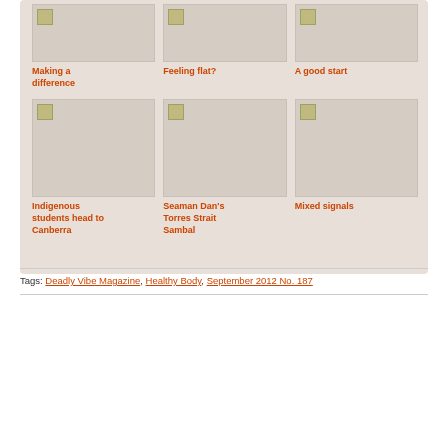[Figure (illustration): Card image placeholder for Making a difference]
Making a difference
[Figure (illustration): Card image placeholder for Feeling flat?]
Feeling flat?
[Figure (illustration): Card image placeholder for A good start]
A good start
[Figure (illustration): Card image placeholder for Indigenous students head to Canberra]
Indigenous students head to Canberra
[Figure (illustration): Card image placeholder for Seaman Dan's Torres Strait Sambal]
Seaman Dan's Torres Strait Sambal
[Figure (illustration): Card image placeholder for Mixed signals]
Mixed signals
Tags: Deadly Vibe Magazine, Healthy Body, September 2012 No. 187